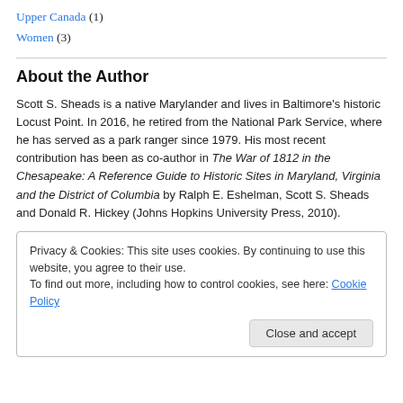Upper Canada (1)
Women (3)
About the Author
Scott S. Sheads is a native Marylander and lives in Baltimore's historic Locust Point. In 2016, he retired from the National Park Service, where he has served as a park ranger since 1979. His most recent contribution has been as co-author in The War of 1812 in the Chesapeake: A Reference Guide to Historic Sites in Maryland, Virginia and the District of Columbia by Ralph E. Eshelman, Scott S. Sheads and Donald R. Hickey (Johns Hopkins University Press, 2010).
Privacy & Cookies: This site uses cookies. By continuing to use this website, you agree to their use.
To find out more, including how to control cookies, see here: Cookie Policy
Close and accept